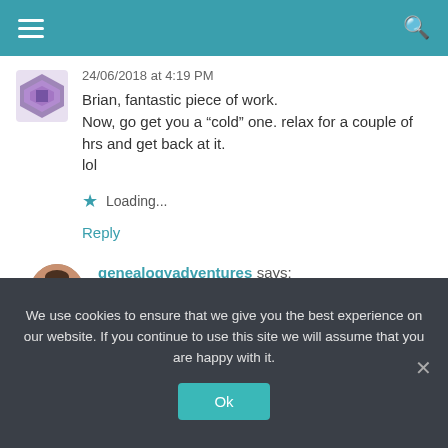Navigation bar with menu and search icons
24/06/2018 at 4:19 PM
Brian, fantastic piece of work.
Now, go get you a “cold” one. relax for a couple of hrs and get back at it.
lol
Loading...
Reply
genealogyadventures says:
24/06/2018 at 6:09 PM
Lol aye, aye girl
We use cookies to ensure that we give you the best experience on our website. If you continue to use this site we will assume that you are happy with it.